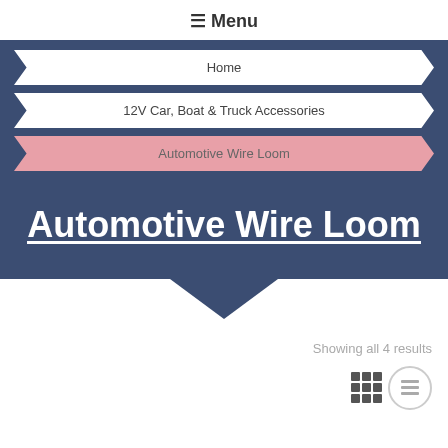☰ Menu
Home
12V Car, Boat & Truck Accessories
Automotive Wire Loom
Automotive Wire Loom
Showing all 4 results